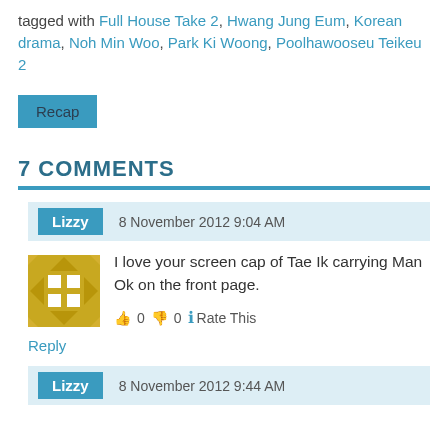tagged with Full House Take 2, Hwang Jung Eum, Korean drama, Noh Min Woo, Park Ki Woong, Poolhawooseu Teikeu 2
Recap
7 COMMENTS
Lizzy  8 November 2012 9:04 AM
I love your screen cap of Tae Ik carrying Man Ok on the front page.
👍 0 👎 0 ℹ Rate This
Reply
Lizzy  8 November 2012 9:44 AM